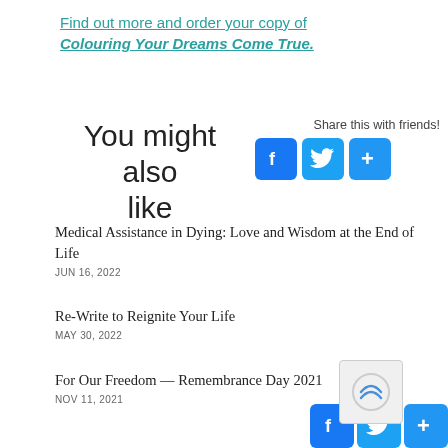Find out more and order your copy of Colouring Your Dreams Come True.
You might also like
Share this with friends!
[Figure (infographic): Social share buttons: Facebook, Twitter, and a plus/share button]
Medical Assistance in Dying: Love and Wisdom at the End of Life
JUN 16, 2022
Re-Write to Reignite Your Life
MAY 30, 2022
For Our Freedom — Remembrance Day 2021
NOV 11, 2021
[Figure (infographic): Social share buttons at bottom: Facebook, Twitter, and plus/share button, with CAPTCHA overlay]